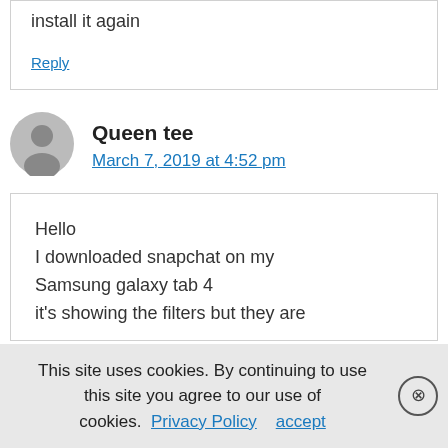install it again
Reply
Queen tee
March 7, 2019 at 4:52 pm
Hello
I downloaded snapchat on my Samsung galaxy tab 4
it's showing the filters but they are
This site uses cookies. By continuing to use this site you agree to our use of cookies. Privacy Policy   accept